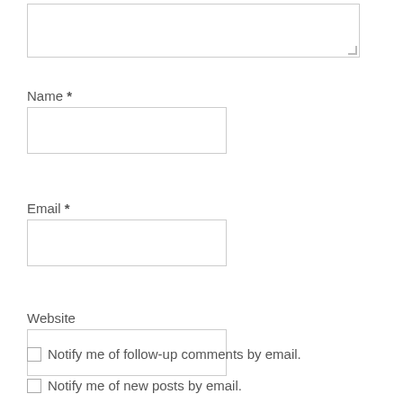[Figure (screenshot): A textarea input box with a resize handle at the bottom right corner]
Name *
[Figure (screenshot): A text input field for Name]
Email *
[Figure (screenshot): A text input field for Email]
Website
[Figure (screenshot): A text input field for Website]
Notify me of follow-up comments by email.
Notify me of new posts by email.